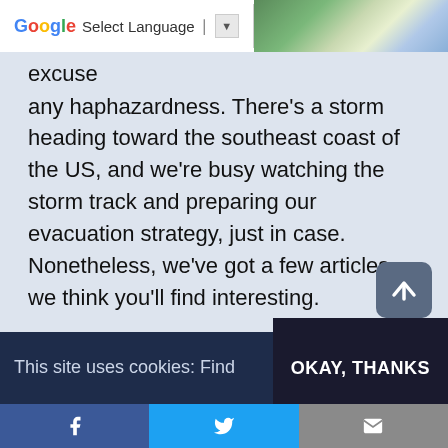[Figure (screenshot): Google Translate language selector bar at top left, with satellite/aerial image on the right]
excuse
any haphazardness. There’s a storm heading toward the southeast coast of the US, and we’re busy watching the storm track and preparing our evacuation strategy, just in case. Nonetheless, we’ve got a few articles we think you’ll find interesting.
Last week’s newsletter about PD Summer School was focused on actions that you can take to help yourself. But, these efforts should be balanced with things that you do for the benefit of others.
This site uses cookies: Find
OKAY, THANKS